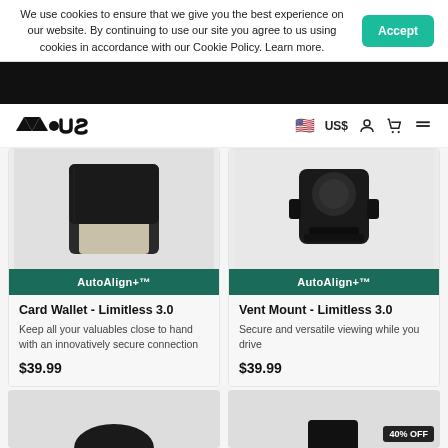We use cookies to ensure that we give you the best experience on our website. By continuing to use our site you agree to us using cookies in accordance with our Cookie Policy. Learn more.
[Figure (logo): Mous brand logo in black]
🇺🇸 US$
[Figure (illustration): Card Wallet Limitless 3.0 product image - black leather wallet]
AutoAlign+™
Card Wallet - Limitless 3.0
Keep all your valuables close to hand with an innovatively secure connection
$39.99
[Figure (illustration): Vent Mount Limitless 3.0 product image - black vent mount]
AutoAlign+™
Vent Mount - Limitless 3.0
Secure and versatile viewing while you drive
$39.99
[Figure (illustration): Partial product image bottom left]
[Figure (illustration): Partial product image bottom right with 40% OFF badge]
40% OFF